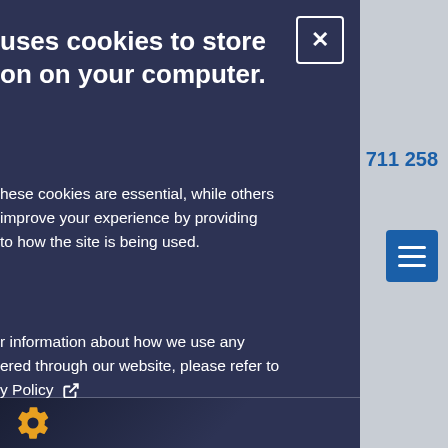[Figure (screenshot): Cookie consent overlay modal on a website. Dark navy overlay on the left covering most of the page, with a close X button, bold white title about cookies, body text explaining cookies, policy link, reject and accept cookie buttons. Behind the overlay, a grey website is visible with a phone number 01306 711 258, a blue menu button with hamburger icon, and partial content about a service.]